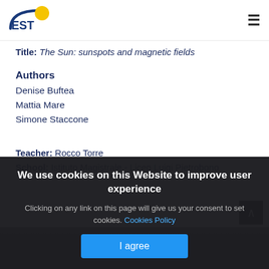EST logo and navigation menu
Title: The Sun: sunspots and magnetic fields
Authors
Denise Buftea
Mattia Mare
Simone Staccone
Teacher: Rocco Torre
School: Istituto Magistrale - Liceo Luigi Pietrobono
We use cookies on this Website to improve user experience
Clicking on any link on this page will give us your consent to set cookies. Cookies Policy
I agree